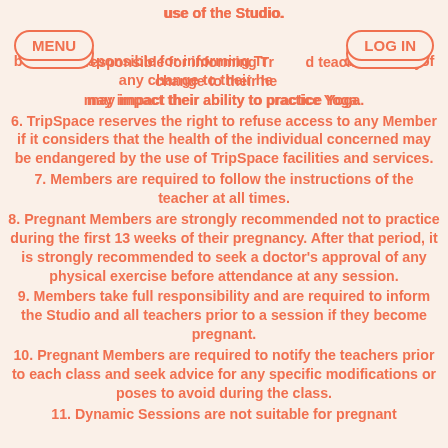MENU | LOG IN
use of the Studio.
bers are responsible for informing TripSpace and teachers of any change to their health that may impact their ability to practice Yoga.
6. TripSpace reserves the right to refuse access to any Member if it considers that the health of the individual concerned may be endangered by the use of TripSpace facilities and services.
7. Members are required to follow the instructions of the teacher at all times.
8. Pregnant Members are strongly recommended not to practice during the first 13 weeks of their pregnancy. After that period, it is strongly recommended to seek a doctor's approval of any physical exercise before attendance at any session.
9. Members take full responsibility and are required to inform the Studio and all teachers prior to a session if they become pregnant.
10. Pregnant Members are required to notify the teachers prior to each class and seek advice for any specific modifications or poses to avoid during the class.
11. Dynamic Sessions are not suitable for pregnant